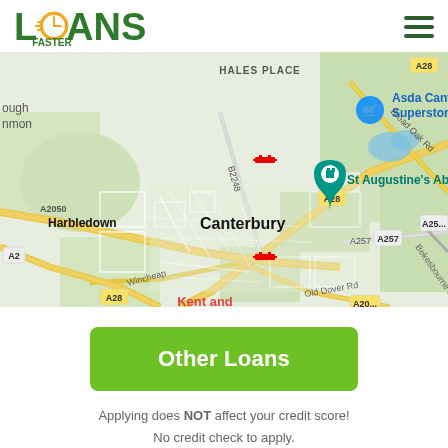[Figure (logo): Loans Faster logo - green text LOANS with clock icon, FASTER text below, orange clock face]
[Figure (map): Google Maps view of Canterbury, UK showing Harbledown, Hales Place, Asda Canterbury Superstore, St Augustine's Abbey, road labels A28, A2050, A257, A2, B2248, Old Dover Rd, Wincheap, Broad Oak Rd, Bekesbourne L.]
Other Loans
Applying does NOT affect your credit score!
No credit check to apply.